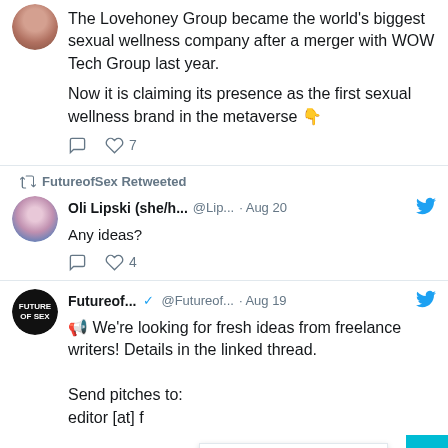The Lovehoney Group became the world's biggest sexual wellness company after a merger with WOW Tech Group last year.

Now it is claiming its presence as the first sexual wellness brand in the metaverse 👇
FutureofSex Retweeted
Oli Lipski (she/h... @Lip... · Aug 20
Any ideas?
Futureof... @Futureof... · Aug 19
📣 We're looking for fresh ideas from freelance writers! Details in the linked thread.

Send pitches to:
editor [at] f
Privacy & Cookies Policy